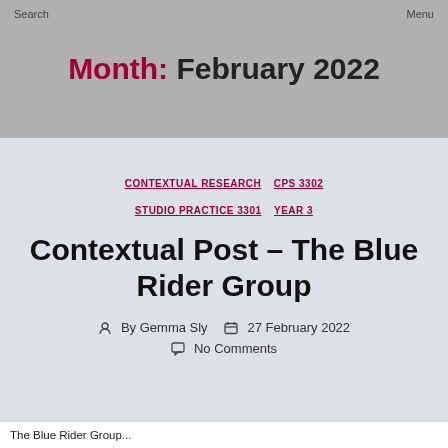Search    Menu
Month: February 2022
CONTEXTUAL RESEARCH  CPS 3302  STUDIO PRACTICE 3301  YEAR 3
Contextual Post – The Blue Rider Group
By Gemma Sly   27 February 2022
No Comments
The Blue Rider Group...